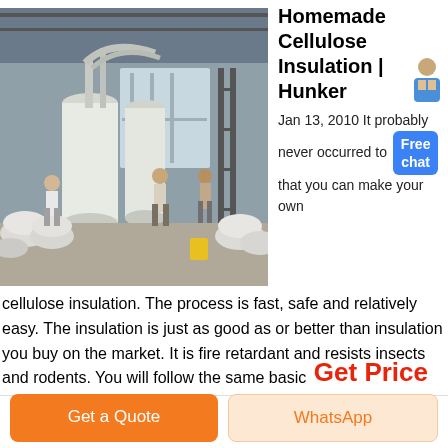[Figure (photo): Industrial warehouse interior with large processing equipment, white cylindrical tanks and pipes, workers in foreground, bags of material stacked on the floor]
Homemade Cellulose Insulation | Hunker
Jan 13, 2010 It probably never occurred to [Free chat] that you can make your own cellulose insulation. The process is fast, safe and relatively easy. The insulation is just as good as or better than insulation you buy on the market. It is fire retardant and resists insects and rodents. You will follow the same basic
Get Price
Get a Quote
WhatsApp